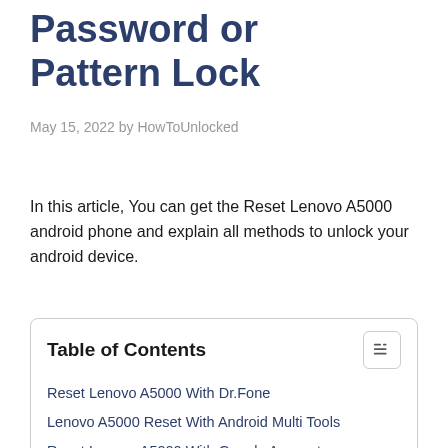Password or Pattern Lock
May 15, 2022 by HowToUnlocked
In this article, You can get the Reset Lenovo A5000 android phone and explain all methods to unlock your android device.
Table of Contents
Reset Lenovo A5000 With Dr.Fone
Lenovo A5000 Reset With Android Multi Tools
Reset Lenovo A5000 With Google Account
Hard Reset Lenovo A5000 Phone
Unlock With Google Find My Device